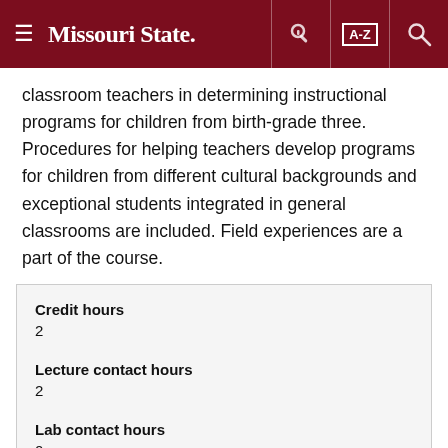Missouri State
classroom teachers in determining instructional programs for children from birth-grade three. Procedures for helping teachers develop programs for children from different cultural backgrounds and exceptional students integrated in general classrooms are included. Field experiences are a part of the course.
| Credit hours | 2 |
| Lecture contact hours | 2 |
| Lab contact hours | 0 |
| Typically offered |  |